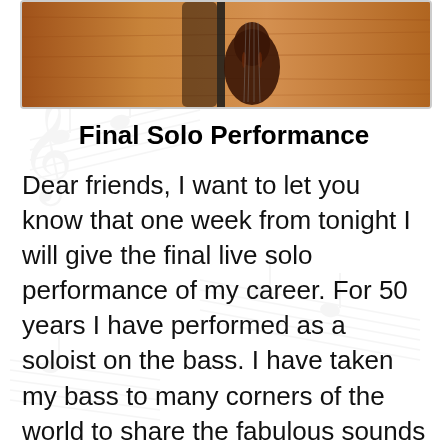[Figure (photo): A photograph showing a person playing a double bass instrument on a stage with a warm wooden background.]
Final Solo Performance
Dear friends, I want to let you know that one week from tonight I will give the final live solo performance of my career. For 50 years I have performed as a soloist on the bass. I have taken my bass to many corners of the world to share the fabulous sounds that we can produce. I have performed in every imaginable venue, from